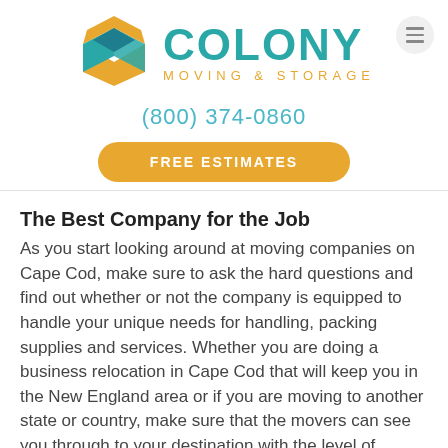[Figure (logo): Colony Moving & Storage logo with teal and yellow open box icon and teal COLONY text with orange MOVING & STORAGE subtitle]
(800) 374-0860
FREE ESTIMATES
The Best Company for the Job
As you start looking around at moving companies on Cape Cod, make sure to ask the hard questions and find out whether or not the company is equipped to handle your unique needs for handling, packing supplies and services. Whether you are doing a business relocation in Cape Cod that will keep you in the New England area or if you are moving to another state or country, make sure that the movers can see you through to your destination with the level of moving logistics and care that you require.